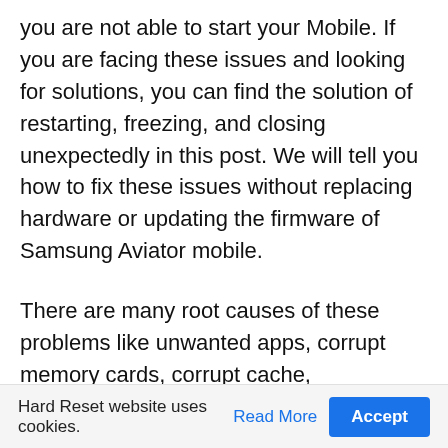you are not able to start your Mobile. If you are facing these issues and looking for solutions, you can find the solution of restarting, freezing, and closing unexpectedly in this post. We will tell you how to fix these issues without replacing hardware or updating the firmware of Samsung Aviator mobile.
There are many root causes of these problems like unwanted apps, corrupt memory cards, corrupt cache, overloading system, and various other reasons. The Phone gets restarted, and it can create an issue on the loss of your valuable time
Hard Reset website uses cookies. Read More Accept